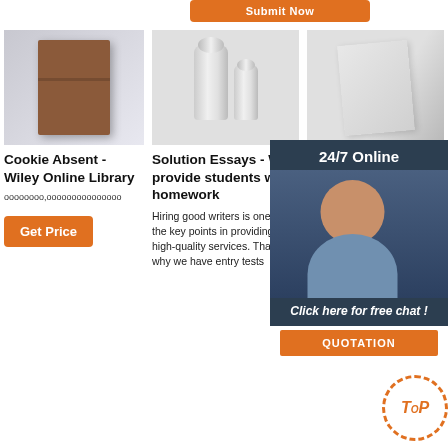[Figure (other): Orange Submit Now button at top]
[Figure (photo): Brown book cover image]
[Figure (photo): White cylindrical objects/rolls]
[Figure (photo): Paper/document with 24/7 Online customer service overlay popup]
Cookie Absent - Wiley Online Library
oooooooo,ooooooooooooo
[Figure (other): Get Price orange button]
Solution Essays - We provide students with homework
Hiring good writers is one of the key points in providing high-quality services. That's why we have entry tests
Course Online your paper
Whenever students academic hardships, they tend to run to online essay help companies. If this is also happening
[Figure (other): 24/7 Online chat popup with female agent and Click here for free chat and QUOTATION button]
[Figure (logo): TOP circular badge with orange dashed border]